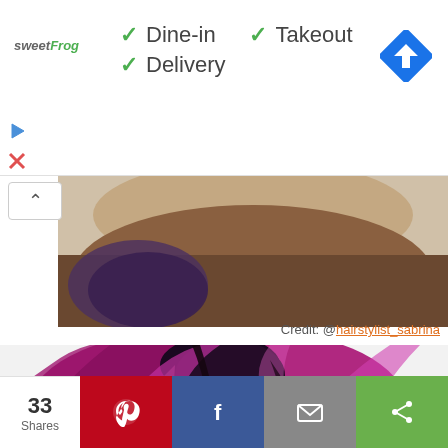[Figure (screenshot): Advertisement bar showing sweetFrog logo with Dine-in, Takeout, Delivery checkmarks and a blue navigation/directions icon]
Credit: @hairstylist_sabrina
[Figure (photo): Close-up photo of person's head showing short purple/magenta colored hair with dark roots, viewed from above/back]
33 Shares
[Figure (infographic): Social share bar with Pinterest (red), Facebook (blue), Email (gray), Share (green) buttons]